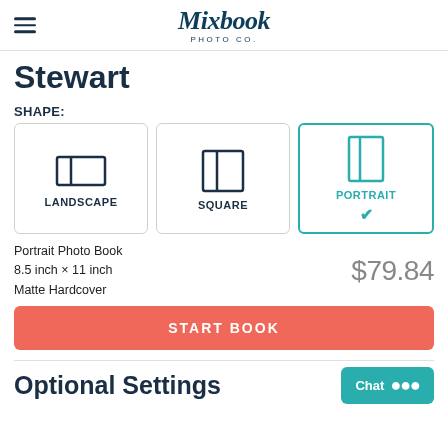Mixbook PHOTO CO.
Stewart
SHAPE:
[Figure (other): Three shape selection cards: LANDSCAPE (horizontal rectangle icon), SQUARE (square icon), PORTRAIT (portrait rectangle icon, selected with teal border and checkmark)]
Portrait Photo Book
8.5 inch × 11 inch
Matte Hardcover
$79.84
START BOOK
Optional Settings
Chat